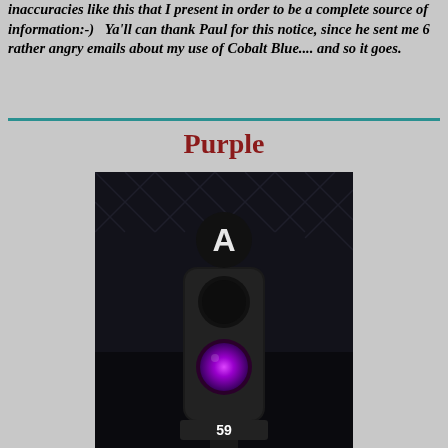inaccuracies like this that I present in order to be a complete source of information:-)   Ya'll can thank Paul for this notice, since he sent me 6 rather angry emails about my use of Cobalt Blue.... and so it goes.
Purple
[Figure (photo): A railroad signal at night showing a purple/violet light illuminated in the lower lens and a white letter 'A' marker on top. The signal number 59 is visible at the base.]